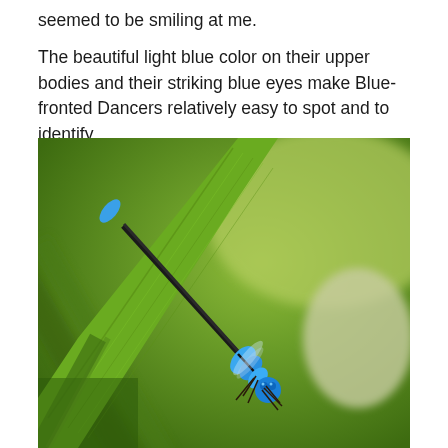seemed to be smiling at me.
The beautiful light blue color on their upper bodies and their striking blue eyes make Blue-fronted Dancers relatively easy to spot and to identify.
[Figure (photo): Close-up macro photograph of a Blue-fronted Dancer damselfly perched on a green plant stem/leaf. The insect has a black body with bright blue markings on its thorax and tail tip, and vivid blue eyes. The background is blurred green foliage (bokeh).]